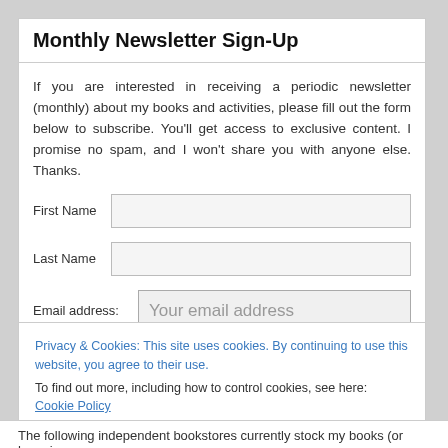Monthly Newsletter Sign-Up
If you are interested in receiving a periodic newsletter (monthly) about my books and activities, please fill out the form below to subscribe. You'll get access to exclusive content. I promise no spam, and I won't share you with anyone else. Thanks.
First Name [input field]
Last Name [input field]
Email address: Your email address [input field]
Privacy & Cookies: This site uses cookies. By continuing to use this website, you agree to their use. To find out more, including how to control cookies, see here: Cookie Policy
Close and accept
The following independent bookstores currently stock my books (or have in